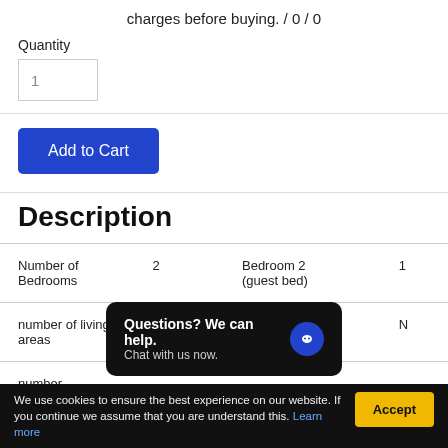charges before buying. / 0 / 0
Quantity
1
Add to Cart
Description
| Number of Bedrooms | 2 | Bedroom 2 (guest bed) | 1 |
| number of living areas | 1 | Bedroom 3 | N |
| number |  |  |  |
Questions? We can help. Chat with us now.
We use cookies to ensure the best experience on our website. If you continue we assume that you are understand this. Learn more
Accept